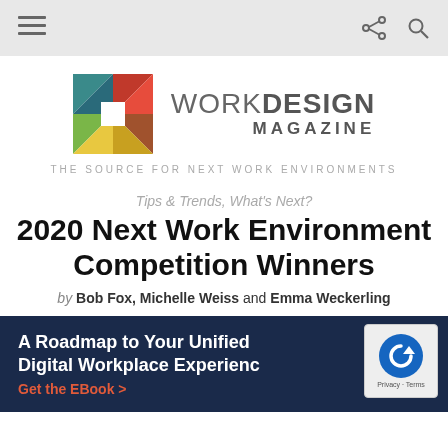Navigation bar with menu, share, and search icons
[Figure (logo): Work Design Magazine logo: colorful geometric square mosaic beside the brand name]
THE SOURCE FOR NEXT WORK ENVIRONMENTS
Tips & Trends, What's Next?
2020 Next Work Environment Competition Winners
by Bob Fox, Michelle Weiss and Emma Weckerling
[Figure (infographic): Dark navy blue banner ad reading 'A Roadmap to Your Unified Digital Workplace Experience' with a red link 'Get the EBook >' and a reCAPTCHA badge in the top right corner]